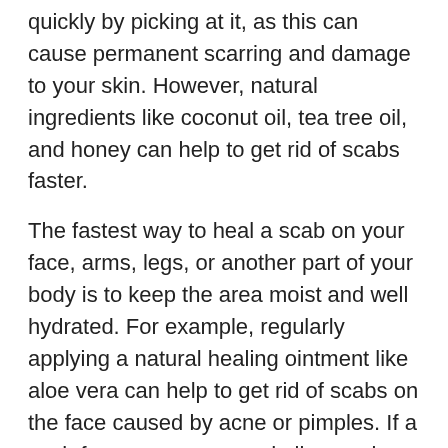quickly by picking at it, as this can cause permanent scarring and damage to your skin. However, natural ingredients like coconut oil, tea tree oil, and honey can help to get rid of scabs faster.
The fastest way to heal a scab on your face, arms, legs, or another part of your body is to keep the area moist and well hydrated. For example, regularly applying a natural healing ointment like aloe vera can help to get rid of scabs on the face caused by acne or pimples. If a scab forms over a grazed elbow or knee then regularly applying coconut oil helps to quickly heal the scab and prevent the hardened crust from cracking.